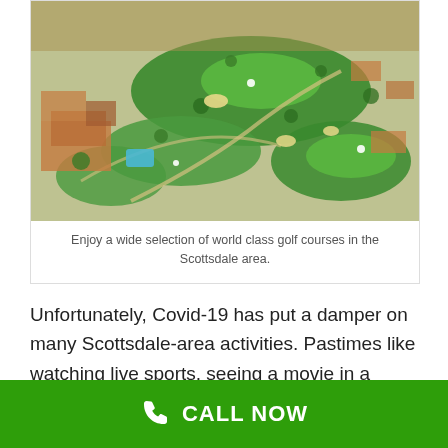[Figure (photo): Aerial view of a golf course in the Scottsdale area, showing green fairways, sand traps, a swimming pool, residential buildings, and desert vegetation surrounding the course.]
Enjoy a wide selection of world class golf courses in the Scottsdale area.
Unfortunately, Covid-19 has put a damper on many Scottsdale-area activities. Pastimes like watching live sports, seeing a movie in a theater, and attending Phoenix Symphony concerts are still a no-
CALL NOW